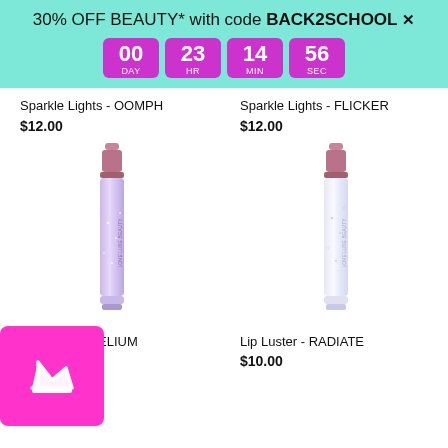30% OFF BEAUTY* with code BACK2SCHOOL ×
00 DAY  23 HR  14 MIN  56 SEC
Sparkle Lights - OOMPH
$12.00
Sparkle Lights - FLICKER
$12.00
[Figure (photo): Lip gloss tube - Sparkle Lights OOMPH, lavender/iridescent glitter, rose gold cap]
[Figure (photo): Lip gloss tube - Sparkle Lights FLICKER, white/iridescent glitter, rose gold cap]
Lip Luster - HELIUM
$
[Figure (logo): Pink/magenta square badge with white crown icon]
Lip Luster - RADIATE
$10.00